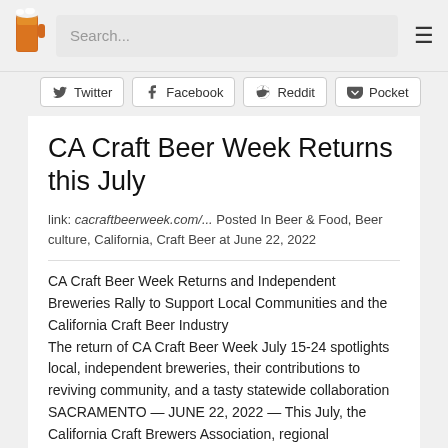Search...
Twitter  Facebook  Reddit  Pocket
CA Craft Beer Week Returns this July
link: cacraftbeerweek.com/... Posted In Beer & Food, Beer culture, California, Craft Beer at June 22, 2022
CA Craft Beer Week Returns and Independent Breweries Rally to Support Local Communities and the California Craft Beer Industry The return of CA Craft Beer Week July 15-24 spotlights local, independent breweries, their contributions to reviving community, and a tasty statewide collaboration SACRAMENTO — JUNE 22, 2022 — This July, the California Craft Brewers Association, regional